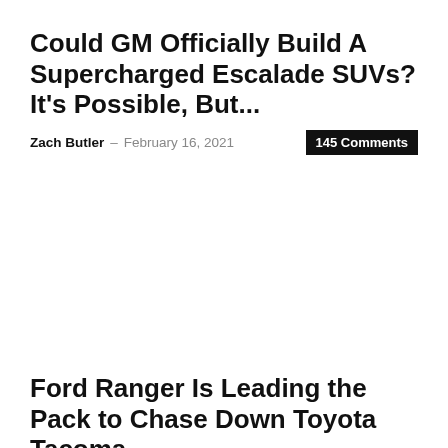Could GM Officially Build A Supercharged Escalade SUVs? It's Possible, But...
Zach Butler · February 16, 2021   145 Comments
Ford Ranger Is Leading the Pack to Chase Down Toyota Tacoma...
Andre Smirnov · October 2, 2020   96 Comments